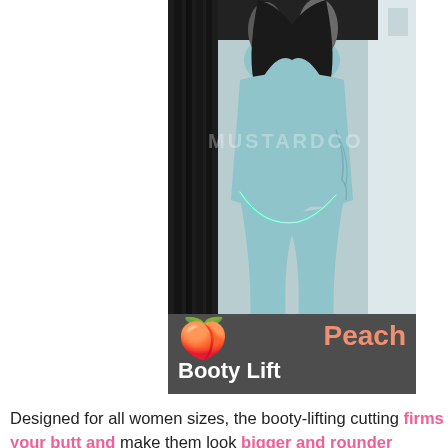[Figure (photo): Person wearing light blue/teal leggings from behind, showing booty-lifting effect. A glowing curved highlight line is overlaid on the leggings. Watermark text 'MUSTARDCO' visible. Dark background on left side of photo.]
🍑 Peach  Booty Lift
Designed for all women sizes, the booty-lifting cutting firms your butt and make them look bigger and rounder without butt pads! Best of all, they hug